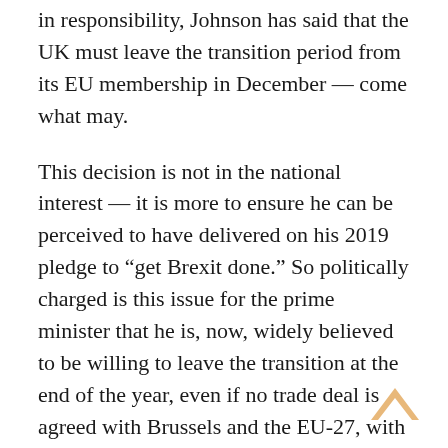in responsibility, Johnson has said that the UK must leave the transition period from its EU membership in December — come what may.
This decision is not in the national interest — it is more to ensure he can be perceived to have delivered on his 2019 pledge to “get Brexit done.” So politically charged is this issue for the prime minister that he is, now, widely believed to be willing to leave the transition at the end of the year, even if no trade deal is agreed with Brussels and the EU-27, with the further economic damage this could bring.
The combination of a disorderly Brexit and a continued coronavirus crisis may bring an ignominious end to Johnson’s political career. Despite his hold on power seeming unassailable a year ago, his premature departure from office in these circumstances is a growing possibility,